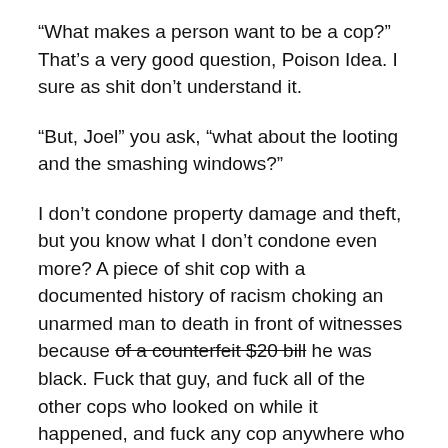“What makes a person want to be a cop?” That’s a very good question, Poison Idea. I sure as shit don’t understand it.
“But, Joel” you ask, “what about the looting and the smashing windows?”
I don’t condone property damage and theft, but you know what I don’t condone even more? A piece of shit cop with a documented history of racism choking an unarmed man to death in front of witnesses because of a counterfeit $20 bill he was black. Fuck that guy, and fuck all of the other cops who looked on while it happened, and fuck any cop anywhere who doesn’t stand up and say “ENOUGH!” And if property damage and theft are more important to you than human life, then fuck you, too.